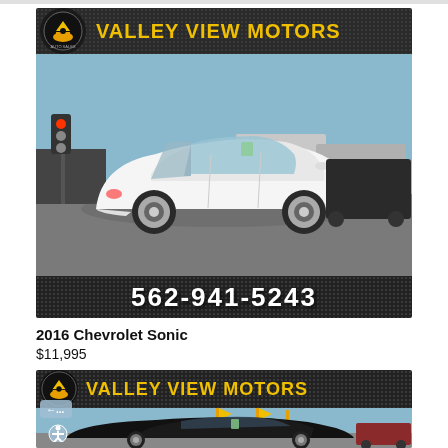[Figure (photo): Valley View Motors dealership photo of a white 2016 Chevrolet Sonic sedan in a car lot with dealer banner showing 'VALLEY VIEW MOTORS' and phone number 562-941-5243]
2016 Chevrolet Sonic
$11,995
[Figure (photo): Valley View Motors dealership photo of a dark/black sedan in a car lot with dealer banner showing 'VALLEY VIEW MOTORS', partially visible; accessibility icon overlay visible]